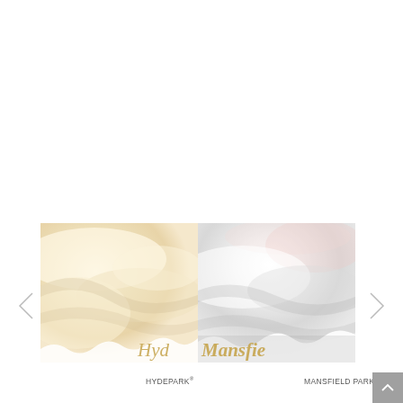[Figure (photo): Two close-up rose petal images side by side: left image shows warm cream/ivory petals (labeled 'Hyd' in gold italic), right image shows white/pale petals with pink blush (labeled 'Mansfie' in gold bold italic). Navigation arrows on left and right sides.]
HYDEPARK®
MANSFIELD PARK®